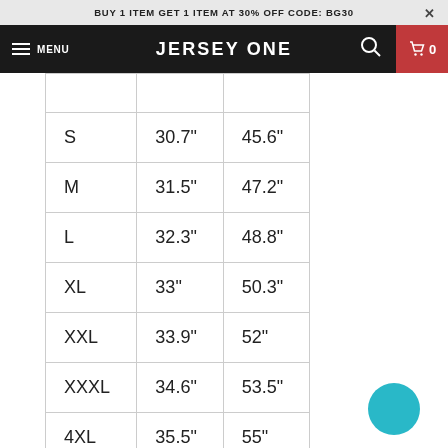BUY 1 ITEM GET 1 ITEM AT 30% OFF CODE: BG30
JERSEY ONE
|  |  |  |
| --- | --- | --- |
| S | 30.7" | 45.6" |
| M | 31.5" | 47.2" |
| L | 32.3" | 48.8" |
| XL | 33" | 50.3" |
| XXL | 33.9" | 52" |
| XXXL | 34.6" | 53.5" |
| 4XL | 35.5" | 55" |
| 5XL | 36.5 | 56.5" |